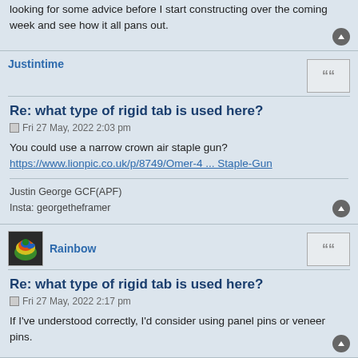looking for some advice before I start constructing over the coming week and see how it all pans out.
Justintime
Re: what type of rigid tab is used here?
Fri 27 May, 2022 2:03 pm
You could use a narrow crown air staple gun?
https://www.lionpic.co.uk/p/8749/Omer-4 ... Staple-Gun
Justin George GCF(APF)
Insta: georgetheframer
Rainbow
Re: what type of rigid tab is used here?
Fri 27 May, 2022 2:17 pm
If I've understood correctly, I'd consider using panel pins or veneer pins.
daveym